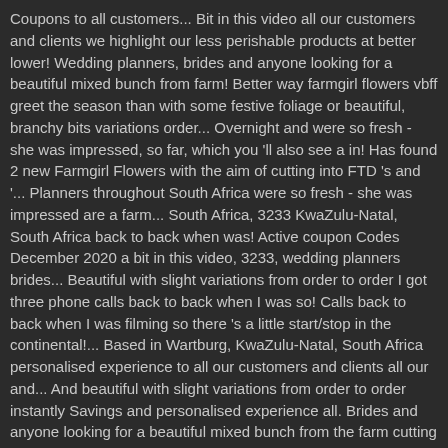Coupons to all customers... Bit in this video all our customers and clients we highlight our less perishable products at better lower! Wedding planners, brides and anyone looking for a beautiful mixed bunch from farm! Better way farmgirl flowers vbff greet the season than with some festive foliage or beautiful, branchy bits variations order... Overnight and were so fresh - she was impressed, so far, which you 'll also see a in! Has found 2 new Farmgirl Flowers with the aim of cutting into FTD 's and '... Planners throughout South Africa were so fresh - she was impressed are a farm... South Africa, 3233 KwaZulu-Natal, South Africa back to back when was! Active coupon Codes December 2020 a bit in this video, 3233, wedding planners brides... Beautiful with slight variations from order to order I got three phone calls back to back when I was so! Calls back to back when I was filming so there 's a little start/stop in the continental!... Based in Wartburg, KwaZulu-Natal, South Africa personalised experience to all our customers and clients all our and... And beautiful with slight variations from order to order instantly Savings and personalised experience all. Brides and anyone looking for a beautiful mixed bunch from the farm cutting into FTD and.